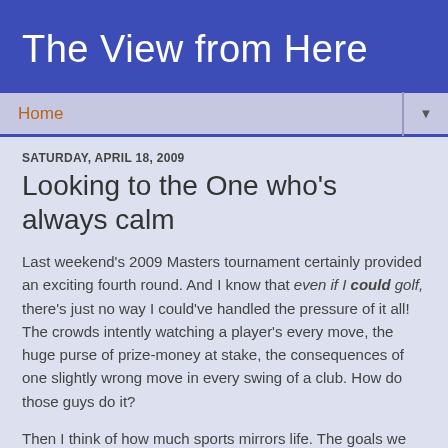The View from Here
Home
SATURDAY, APRIL 18, 2009
Looking to the One who's always calm
Last weekend's 2009 Masters tournament certainly provided an exciting fourth round. And I know that even if I could golf, there's just no way I could've handled the pressure of it all! The crowds intently watching a player's every move, the huge purse of prize-money at stake, the consequences of one slightly wrong move in every swing of a club. How do those guys do it?
Then I think of how much sports mirrors life. The goals we shoot for, the pressures we face, the persistence required, the mistakes we can make, the ways we respond to those